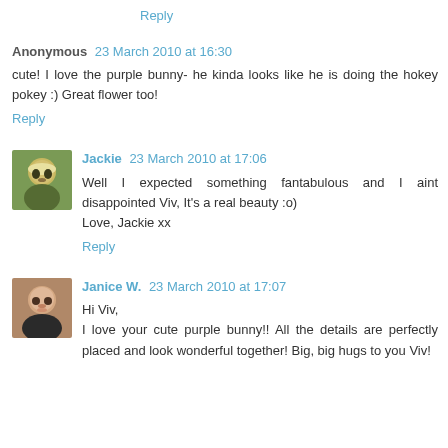Reply
Anonymous 23 March 2010 at 16:30
cute! I love the purple bunny- he kinda looks like he is doing the hokey pokey :) Great flower too!
Reply
Jackie 23 March 2010 at 17:06
Well I expected something fantabulous and I aint disappointed Viv, It's a real beauty :o)
Love, Jackie xx
Reply
Janice W. 23 March 2010 at 17:07
Hi Viv,
I love your cute purple bunny!! All the details are perfectly placed and look wonderful together! Big, big hugs to you Viv!